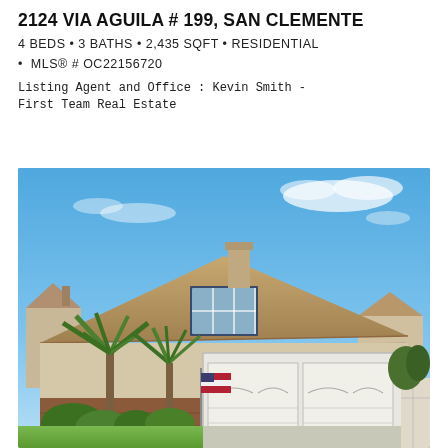2124 VIA AGUILA # 199, SAN CLEMENTE
4 BEDS • 3 BATHS • 2,435 SQFT • RESIDENTIAL • MLS® # OC22156720
Listing Agent and Office : Kevin Smith - First Team Real Estate
[Figure (photo): Exterior front view of a two-story residential home with tile roof, two-car garage, brick facade, palm trees, and a green lawn under a blue sky in San Clemente, CA]